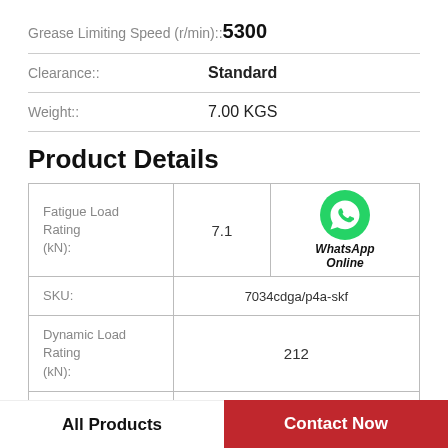Grease Limiting Speed (r/min):: 5300
Clearance:: Standard
Weight:: 7.00 KGS
Product Details
|  |  |  |
| --- | --- | --- |
| Fatigue Load Rating (kN): | 7.1 | WhatsApp Online |
| SKU: | 7034cdga/p4a-skf |  |
| Dynamic Load Rating (kN): | 212 |  |
| Oil Limiting Speed | 8000 |  |
All Products
Contact Now